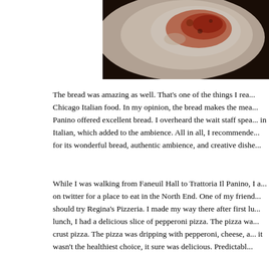[Figure (photo): A white plate with tomato sauce remnants on a dark surface, partially visible from the right half of the top of the page.]
The bread was amazing as well.  That's one of the things I rea... Chicago Italian food.  In my opinion, the bread makes the mea... Panino offered excellent bread.  I overheard the wait staff spea... in Italian, which added to the ambience.  All in all, I recommende... for its wonderful bread, authentic ambience, and creative dishe...
While I was walking from Faneuil Hall to Trattoria Il Panino, I a... on twitter for a place to eat in the North End.  One of my friend... should try Regina's Pizzeria.  I made my way there after first lu... lunch, I had a delicious slice of pepperoni pizza.  The pizza wa... crust pizza.  The pizza was dripping with pepperoni, cheese, a... it wasn't the healthiest choice, it sure was delicious.  Predictabl...